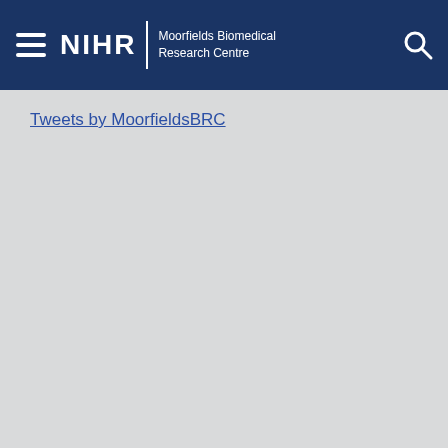NIHR | Moorfields Biomedical Research Centre
Tweets by MoorfieldsBRC